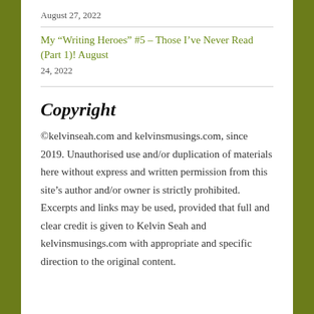August 27, 2022
My “Writing Heroes” #5 – Those I’ve Never Read (Part 1)! August 24, 2022
Copyright
©kelvinseah.com and kelvinsmusings.com, since 2019. Unauthorised use and/or duplication of materials here without express and written permission from this site’s author and/or owner is strictly prohibited. Excerpts and links may be used, provided that full and clear credit is given to Kelvin Seah and kelvinsmusings.com with appropriate and specific direction to the original content.